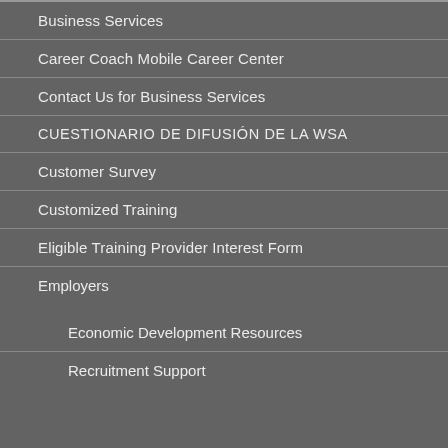Business Services
Career Coach Mobile Career Center
Contact Us for Business Services
CUESTIONARIO DE DIFUSIÓN DE LA WSA
Customer Survey
Customized Training
Eligible Training Provider Interest Form
Employers
Economic Development Resources
Recruitment Support